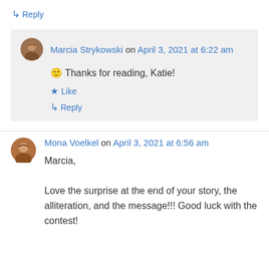↳ Reply
Marcia Strykowski on April 3, 2021 at 6:22 am
🙂 Thanks for reading, Katie!
★ Like
↳ Reply
Mona Voelkel on April 3, 2021 at 6:56 am
Marcia,
Love the surprise at the end of your story, the alliteration, and the message!!! Good luck with the contest!